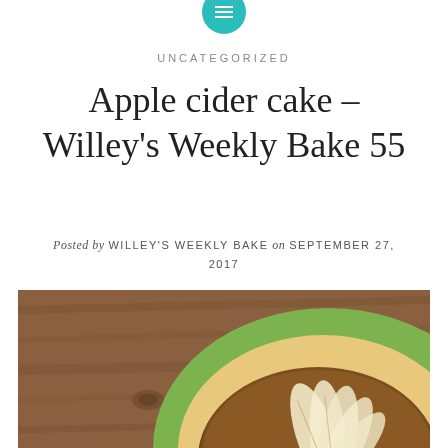[Figure (logo): Teal circular icon with white hamburger menu lines at top center of page]
UNCATEGORIZED
Apple cider cake – Willey's Weekly Bake 55
Posted by WILLEY'S WEEKLY BAKE on SEPTEMBER 27, 2017
[Figure (photo): Overhead photo of an apple cider cake on a green plate, placed on a rustic wooden surface. The cake has sliced apple pieces arranged on top.]